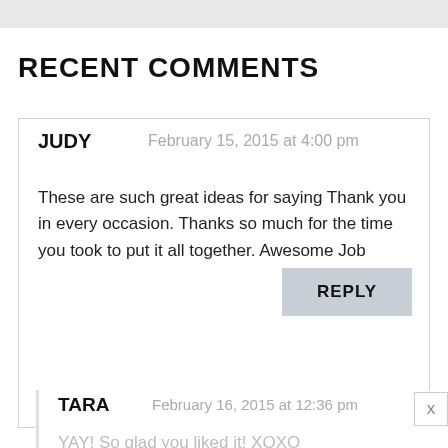[Figure (other): Light gray horizontal bar at the top of the page]
RECENT COMMENTS
JUDY   February 15, 2015 at 4:00 pm
These are such great ideas for saying Thank you in every occasion. Thanks so much for the time you took to put it all together. Awesome Job
REPLY
TARA   February 16, 2015 at 12:36 pm
YAY! So glad you liked it! XOXO